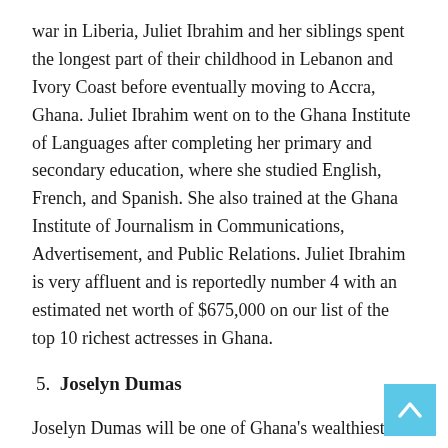war in Liberia, Juliet Ibrahim and her siblings spent the longest part of their childhood in Lebanon and Ivory Coast before eventually moving to Accra, Ghana. Juliet Ibrahim went on to the Ghana Institute of Languages after completing her primary and secondary education, where she studied English, French, and Spanish. She also trained at the Ghana Institute of Journalism in Communications, Advertisement, and Public Relations. Juliet Ibrahim is very affluent and is reportedly number 4 with an estimated net worth of $675,000 on our list of the top 10 richest actresses in Ghana.
5. Joselyn Dumas
Joselyn Dumas will be one of Ghana's wealthiest actresses in 2020. She is an actress, a model, and a celebrity on television. She was born in Accra, Ghana, on 31st August 1980. Currently, she is 39 years old. Born and raised in Accra,